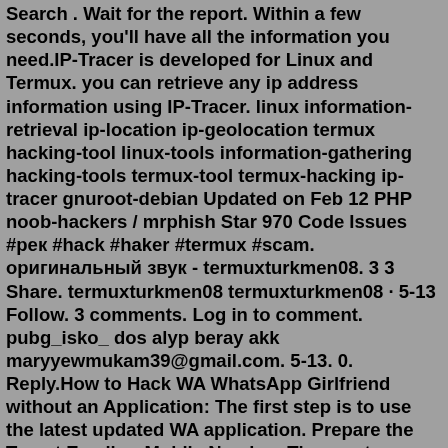Search . Wait for the report. Within a few seconds, you'll have all the information you need.IP-Tracer is developed for Linux and Termux. you can retrieve any ip address information using IP-Tracer. linux information-retrieval ip-location ip-geolocation termux hacking-tool linux-tools information-gathering hacking-tools termux-tool termux-hacking ip-tracer gnuroot-debian Updated on Feb 12 PHP noob-hackers / mrphish Star 970 Code Issues #рек #hack #haker #termux #scam. оригинальный звук - termuxturkmen08. 3 3 Share. termuxturkmen08 termuxturkmen08 · 5-13 Follow. 3 comments. Log in to comment. pubg_isko_ dos alyp beray akk maryyewmukam39@gmail.com. 5-13. 0. Reply.How to Hack WA WhatsApp Girlfriend without an Application: The first step is to use the latest updated WA application. Prepare the Target Email or Mobile Number. Then go to Whatsapp using the mobile number. Do the System Set Up. When WA makes a call, please pick up the phone. The PIN will also be sent to the Destination number.How To Track Mobile